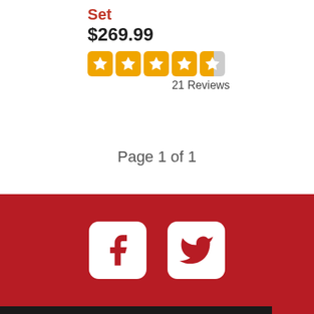Set
$269.99
[Figure (other): 4.5 star rating widget with orange filled stars on rounded square backgrounds]
21 Reviews
Page 1 of 1
[Figure (other): Red footer with Facebook and Twitter social media icons in white rounded square boxes]
Dark footer bar with back-to-top arrow button